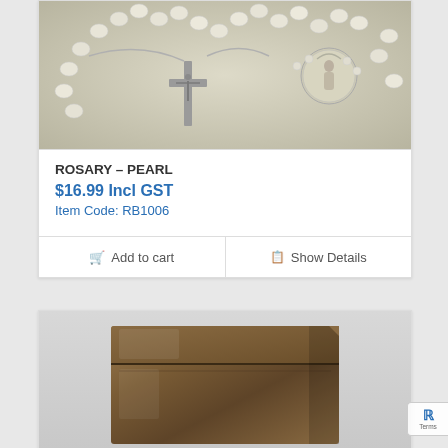[Figure (photo): Photo of a pearl rosary with silver crucifix and Virgin Mary medallion, laid on a white/grey background]
ROSARY – PEARL
$16.99 Incl GST
Item Code: RB1006
Add to cart
Show Details
[Figure (photo): Photo of a brown satin/silk pouch/bag on a light grey background]